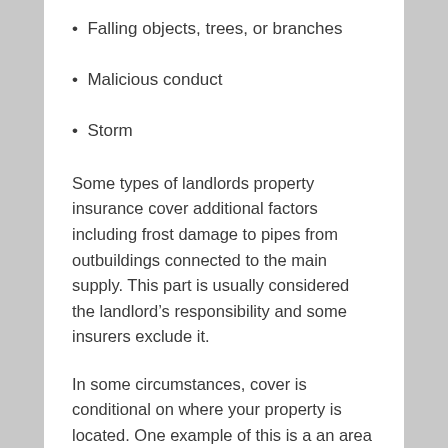Falling objects, trees, or branches
Malicious conduct
Storm
Some types of landlords property insurance cover additional factors including frost damage to pipes from outbuildings connected to the main supply. This part is usually considered the landlord’s responsibility and some insurers exclude it.
In some circumstances, cover is conditional on where your property is located. One example of this is a an area where buildings